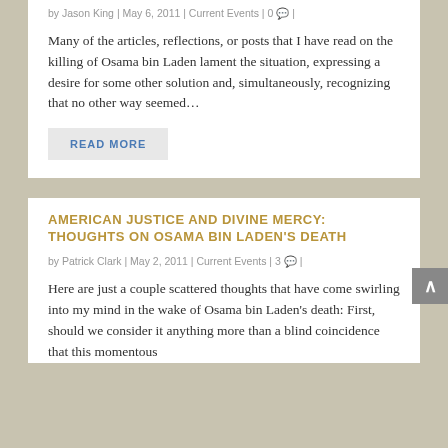by Jason King | May 6, 2011 | Current Events | 0
Many of the articles, reflections, or posts that I have read on the killing of Osama bin Laden lament the situation, expressing a desire for some other solution and, simultaneously, recognizing that no other way seemed...
READ MORE
AMERICAN JUSTICE AND DIVINE MERCY: THOUGHTS ON OSAMA BIN LADEN'S DEATH
by Patrick Clark | May 2, 2011 | Current Events | 3
Here are just a couple scattered thoughts that have come swirling into my mind in the wake of Osama bin Laden's death: First, should we consider it anything more than a blind coincidence that this momentous